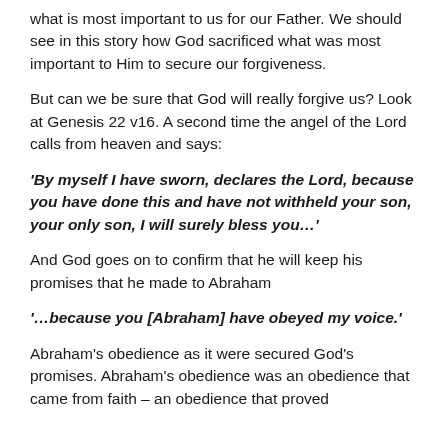what is most important to us for our Father. We should see in this story how God sacrificed what was most important to Him to secure our forgiveness.
But can we be sure that God will really forgive us? Look at Genesis 22 v16. A second time the angel of the Lord calls from heaven and says:
'By myself I have sworn, declares the Lord, because you have done this and have not withheld your son, your only son, I will surely bless you…'
And God goes on to confirm that he will keep his promises that he made to Abraham
'…because you [Abraham] have obeyed my voice.'
Abraham's obedience as it were secured God's promises. Abraham's obedience was an obedience that came from faith – an obedience that proved